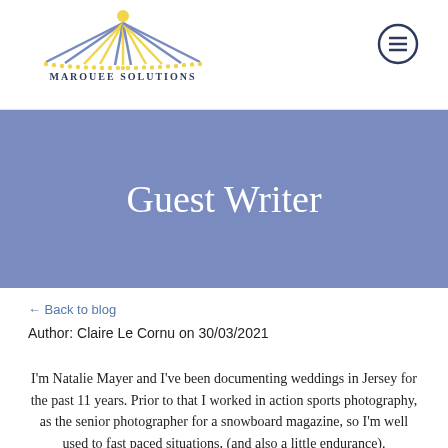Marquee Solutions
Guest Writer
← Back to blog
Author: Claire Le Cornu on 30/03/2021
I'm Natalie Mayer and I've been documenting weddings in Jersey for the past 11 years. Prior to that I worked in action sports photography, as the senior photographer for a snowboard magazine, so I'm well used to fast paced situations, (and also a little endurance).